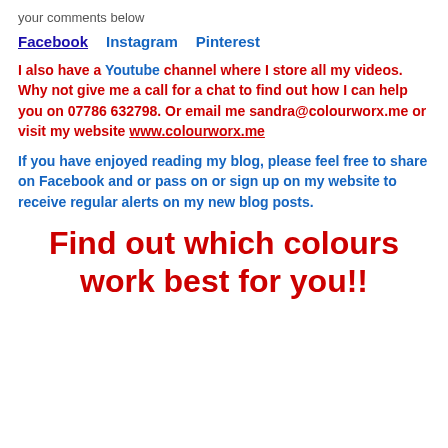your comments below
Facebook   Instagram   Pinterest
I also have a Youtube channel where I store all my videos. Why not give me a call for a chat to find out how I can help you on 07786 632798. Or email me sandra@colourworx.me or visit my website www.colourworx.me
If you have enjoyed reading my blog, please feel free to share on Facebook and or pass on or sign up on my website to receive regular alerts on my new blog posts.
Find out which colours work best for you!!